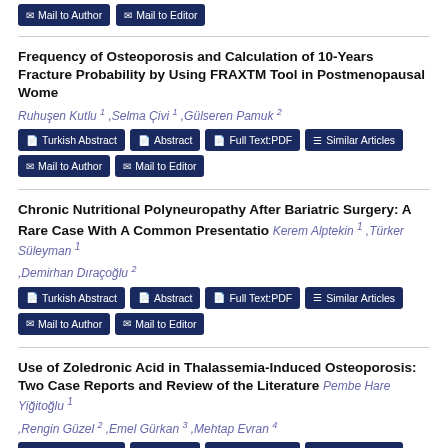Mail to Author | Mail to Editor
Frequency of Osteoporosis and Calculation of 10-Years Fracture Probability by Using FRAXTM Tool in Postmenopausal Wome
Ruhuşen Kutlu 1 ,Selma Çivi 1 ,Gülseren Pamuk 2
Turkish Abstract | Abstract | Full Text:PDF | Similar Articles
Mail to Author | Mail to Editor
Chronic Nutritional Polyneuropathy After Bariatric Surgery: A Rare Case With A Common Presentatio
Kerem Alptekin 1 ,Türker Süleyman 1 ,Demirhan Dıraçoğlu 2
Turkish Abstract | Abstract | Full Text:PDF | Similar Articles
Mail to Author | Mail to Editor
Use of Zoledronic Acid in Thalassemia-Induced Osteoporosis: Two Case Reports and Review of the Literature
Pembe Hare Yiğitoğlu 1 ,Rengin Güzel 2 ,Emel Gürkan 3 ,Mehtap Evran 4
Turkish Abstract | Abstract | Full Text:PDF | Similar Articles
Mail to Author | Mail to Editor